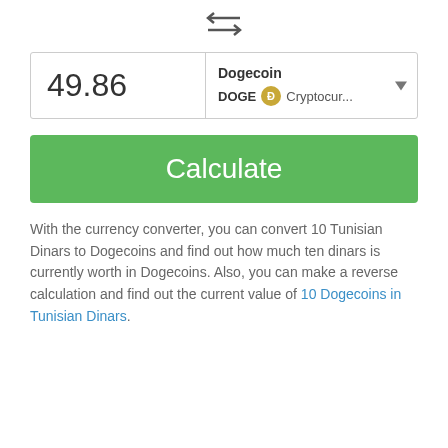[Figure (other): Two horizontal arrows pointing left and right (swap/exchange icon)]
| 49.86 | Dogecoin
DOGE  Cryptocur... |
Calculate
With the currency converter, you can convert 10 Tunisian Dinars to Dogecoins and find out how much ten dinars is currently worth in Dogecoins. Also, you can make a reverse calculation and find out the current value of 10 Dogecoins in Tunisian Dinars.